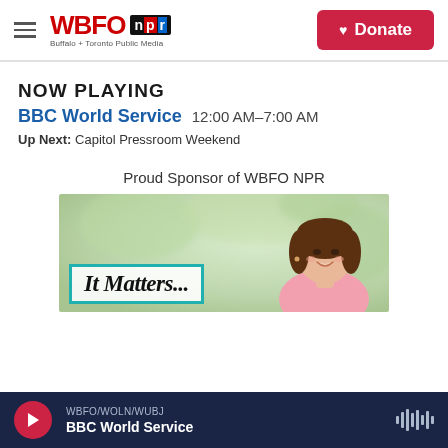WBFO npr Buffalo + Toronto Public Media | Donate
NOW PLAYING
BBC World Service 12:00 AM–7:00 AM
Up Next: Capitol Pressroom Weekend
Proud Sponsor of WBFO NPR
[Figure (photo): Sponsor advertisement showing a smiling woman with brown hair against a green background, with a teal-bordered box containing the text 'It Matters...']
WBFO/WOLN/WUBJ BBC World Service [player bar with play button and waveform icon]